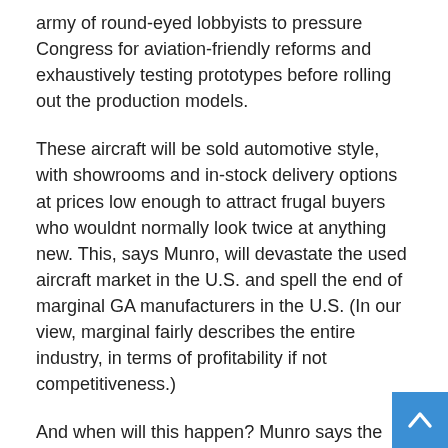army of round-eyed lobbyists to pressure Congress for aviation-friendly reforms and exhaustively testing prototypes before rolling out the production models.
These aircraft will be sold automotive style, with showrooms and in-stock delivery options at prices low enough to attract frugal buyers who wouldnt normally look twice at anything new. This, says Munro, will devastate the used aircraft market in the U.S. and spell the end of marginal GA manufacturers in the U.S. (In our view, marginal fairly describes the entire industry, in terms of profitability if not competitiveness.)
And when will this happen? Munro says the Japanese like dramatic introductions at major events where all competitors will be: His guess is Oshkosh at the 100th anniversary of powered flight. In case youre rusty on the history, thats 2003.